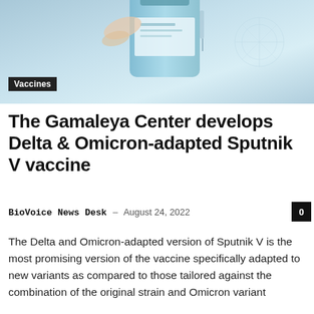[Figure (photo): Hero image showing a hand holding a vaccine vial with a syringe nearby, light blue background, medical/laboratory setting]
Vaccines
The Gamaleya Center develops Delta & Omicron-adapted Sputnik V vaccine
BioVoice News Desk – August 24, 2022
The Delta and Omicron-adapted version of Sputnik V is the most promising version of the vaccine specifically adapted to new variants as compared to those tailored against the combination of the original strain and Omicron variant